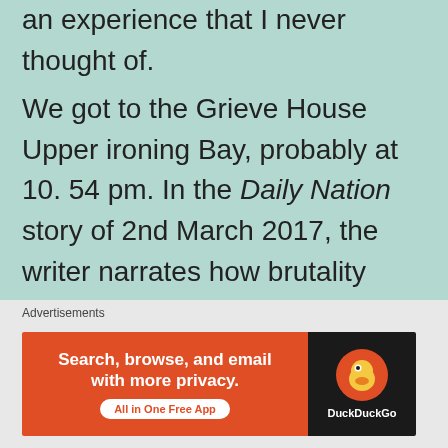an experience that I never thought of.
We got to the Grieve House Upper ironing Bay, probably at 10. 54 pm. In the Daily Nation story of 2nd March 2017, the writer narrates how brutality reigned at the wee hours of the night at Alliance High School. I couldn't agree more. I was pushed into this ironing bay, a place that was going to be my torture chamber for at least two hours. In the room, there were other fourteen students, most of them my fellow form twos, at that time serving as shadow
Advertisements
[Figure (screenshot): DuckDuckGo advertisement banner: orange left panel with text 'Search, browse, and email with more privacy. All in One Free App' and a white rounded button; dark right panel with DuckDuckGo duck logo and brand name.]